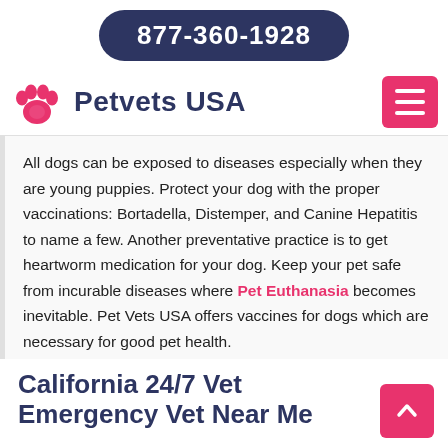877-360-1928
[Figure (logo): Petvets USA logo with pink paw print icon and dark blue text 'Petvets USA']
All dogs can be exposed to diseases especially when they are young puppies. Protect your dog with the proper vaccinations: Bortadella, Distemper, and Canine Hepatitis to name a few. Another preventative practice is to get heartworm medication for your dog. Keep your pet safe from incurable diseases where Pet Euthanasia becomes inevitable. Pet Vets USA offers vaccines for dogs which are necessary for good pet health.
California 24/7 Vet Emergency Vet Near Me